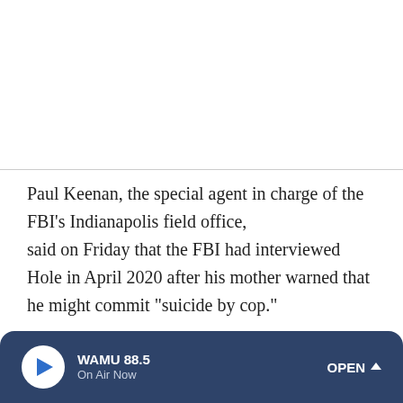Paul Keenan, the special agent in charge of the FBI's Indianapolis field office, said on Friday that the FBI had interviewed Hole in April 2020 after his mother warned that he might commit "suicide by cop."
Hole was placed in a mental health detention and had his shotgun seized. Agents at the time found no evidence of a crime or a racially motivated ideology, Keenan said.
WAMU 88.5 On Air Now OPEN